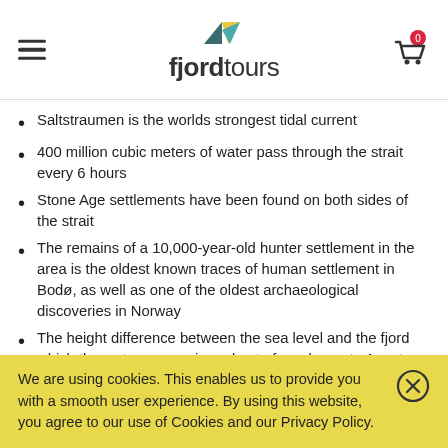fjordtours
Saltstraumen is the worlds strongest tidal current
400 million cubic meters of water pass through the strait every 6 hours
Stone Age settlements have been found on both sides of the strait
The remains of a 10,000-year-old hunter settlement in the area is the oldest known traces of human settlement in Bodø, as well as one of the oldest archaeological discoveries in Norway
The height difference between the sea level and the fjord which the water passes in and out of can be up to 1 meter
We are using cookies. This enables us to provide you with a smooth user experience. By using this website, you agree to our use of Cookies and our Privacy Policy.